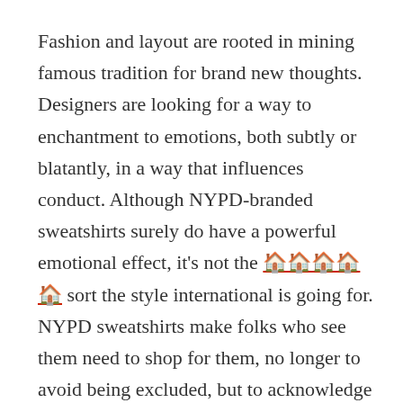Fashion and layout are rooted in mining famous tradition for brand new thoughts. Designers are looking for a way to enchantment to emotions, both subtly or blatantly, in a way that influences conduct. Although NYPD-branded sweatshirts surely do have a powerful emotional effect, it's not the [link] sort the style international is going for. NYPD sweatshirts make folks who see them need to shop for them, no longer to avoid being excluded, but to acknowledge being blanketed. People who put on sweatshirts with the NYPD brand are not saying that others are unique, but that in phrases of our ability and our commonplace reports, we're in lots of methods the identical. They are an inclusive fashion, however by means of being inclusive, they